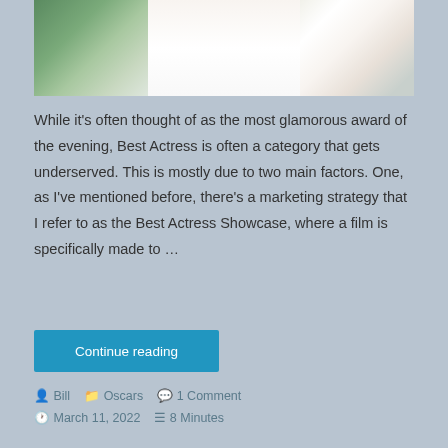[Figure (photo): Photo of a person wearing a white shirt, outdoors with green plants and structural elements in background]
While it's often thought of as the most glamorous award of the evening, Best Actress is often a category that gets underserved. This is mostly due to two main factors. One, as I've mentioned before, there's a marketing strategy that I refer to as the Best Actress Showcase, where a film is specifically made to …
Continue reading
Bill   Oscars   1 Comment
March 11, 2022   8 Minutes